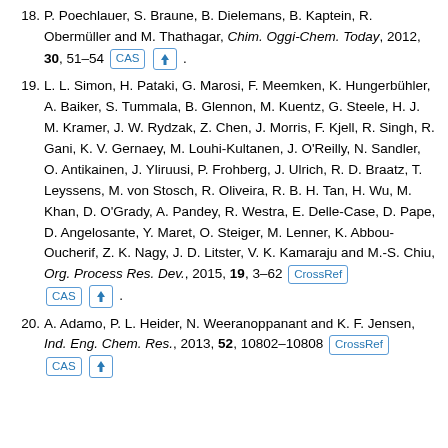18. P. Poechlauer, S. Braune, B. Dielemans, B. Kaptein, R. Obermüller and M. Thathagar, Chim. Oggi-Chem. Today, 2012, 30, 51–54 [CAS] [↑] .
19. L. L. Simon, H. Pataki, G. Marosi, F. Meemken, K. Hungerbühler, A. Baiker, S. Tummala, B. Glennon, M. Kuentz, G. Steele, H. J. M. Kramer, J. W. Rydzak, Z. Chen, J. Morris, F. Kjell, R. Singh, R. Gani, K. V. Gernaey, M. Louhi-Kultanen, J. O'Reilly, N. Sandler, O. Antikainen, J. Yliruusi, P. Frohberg, J. Ulrich, R. D. Braatz, T. Leyssens, M. von Stosch, R. Oliveira, R. B. H. Tan, H. Wu, M. Khan, D. O'Grady, A. Pandey, R. Westra, E. Delle-Case, D. Pape, D. Angelosante, Y. Maret, O. Steiger, M. Lenner, K. Abbou-Oucherif, Z. K. Nagy, J. D. Litster, V. K. Kamaraju and M.-S. Chiu, Org. Process Res. Dev., 2015, 19, 3–62 [CrossRef] [CAS] [↑] .
20. A. Adamo, P. L. Heider, N. Weeranoppanant and K. F. Jensen, Ind. Eng. Chem. Res., 2013, 52, 10802–10808 [CrossRef] [CAS] [↑]